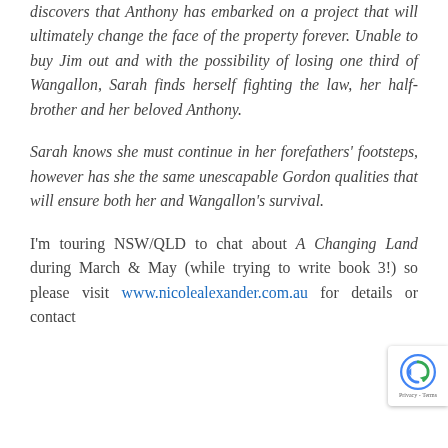discovers that Anthony has embarked on a project that will ultimately change the face of the property forever. Unable to buy Jim out and with the possibility of losing one third of Wangallon, Sarah finds herself fighting the law, her half-brother and her beloved Anthony.
Sarah knows she must continue in her forefathers' footsteps, however has she the same unescapable Gordon qualities that will ensure both her and Wangallon's survival.
I'm touring NSW/QLD to chat about A Changing Land during March & May (while trying to write book 3!) so please visit www.nicolealexander.com.au for details or contact